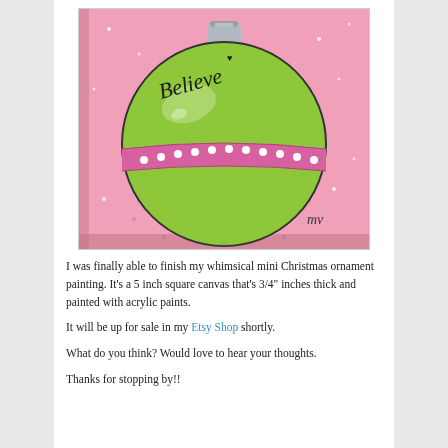[Figure (photo): A painting of a whimsical Christmas ornament on a pink background. The round ornament is lime green with a pink/magenta band decorated with white dots across the middle. The word 'Believe' is written in black on the upper left of the ornament. A silver cap is at the top. The artist's initials 'mv' appear in the lower right corner. The painting is on a small square canvas.]
I was finally able to finish my whimsical mini Christmas ornament painting. It's a 5 inch square canvas that's 3/4" inches thick and painted with acrylic paints.
It will be up for sale in my Etsy Shop shortly.
What do you think? Would love to hear your thoughts.
Thanks for stopping by!!